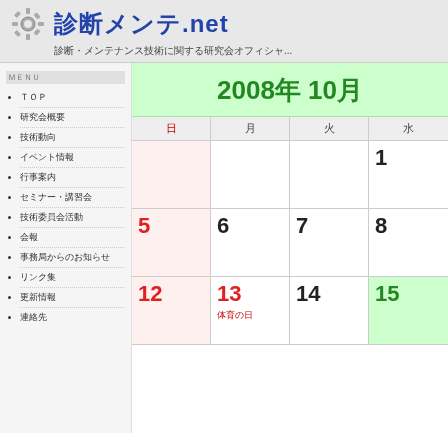診断メンテ.net 診断・メンテナンス技術に関する研究会オフィシャ...
メニュー項目 (複数のナビゲーションリンク)
| 日 | 月 | 火 | 水 |
| --- | --- | --- | --- |
|  |  |  | 1 |
| 5 | 6 | 7 | 8 |
| 12 | 13 (体育の日) | 14 | 15 |